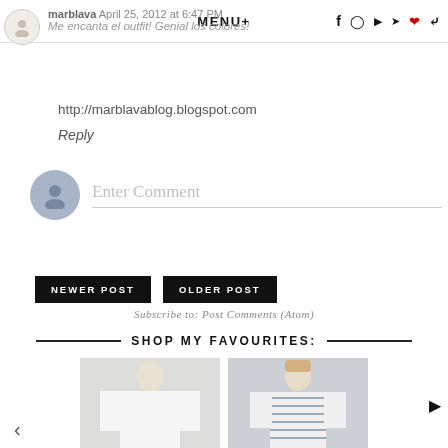MENU+
marblava April 25, 2012 at 6:47 PM
Me encanta el outfit! Genial los colores!
http://marblavablog.blogspot.com
Reply
Enter Comment
NEWER POST
OLDER POST
Subscribe to: Post Comments (Atom)
SHOP MY FAVOURITES:
[Figure (photo): Fashion blog product images showing women's clothing — white shirt and striped shirt]
‹
›